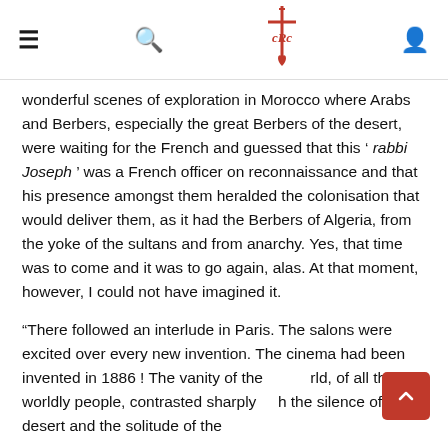≡ 🔍 [CRC logo] 👤
wonderful scenes of exploration in Morocco where Arabs and Berbers, especially the great Berbers of the desert, were waiting for the French and guessed that this ' rabbi Joseph ' was a French officer on reconnaissance and that his presence amongst them heralded the colonisation that would deliver them, as it had the Berbers of Algeria, from the yoke of the sultans and from anarchy. Yes, that time was to come and it was to go again, alas. At that moment, however, I could not have imagined it.
“There followed an interlude in Paris. The salons were excited over every new invention. The cinema had been invented in 1886 ! The vanity of the world, of all those worldly people, contrasted sharply with the silence of the desert and the solitude of the